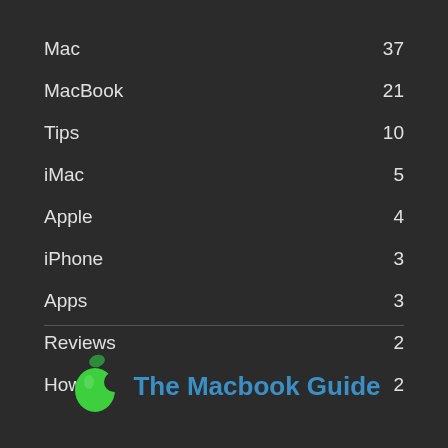Mac 37
MacBook 21
Tips 10
iMac 5
Apple 4
iPhone 3
Apps 3
Reviews 2
How to 2
[Figure (logo): The Macbook Guide logo with green apple icon and blue text]